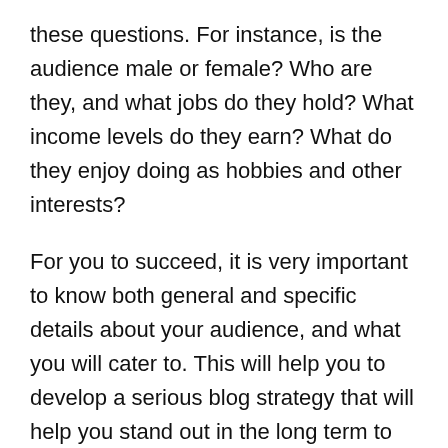these questions. For instance, is the audience male or female? Who are they, and what jobs do they hold? What income levels do they earn? What do they enjoy doing as hobbies and other interests?
For you to succeed, it is very important to know both general and specific details about your audience, and what you will cater to. This will help you to develop a serious blog strategy that will help you stand out in the long term to your audience, and search engines.
Keeping your audience in mind when creating your content involves use of inclusive language, remembering their cultural backgrounds, using words accurately, as well as using specialized terms only when the audience understands it. In addition,